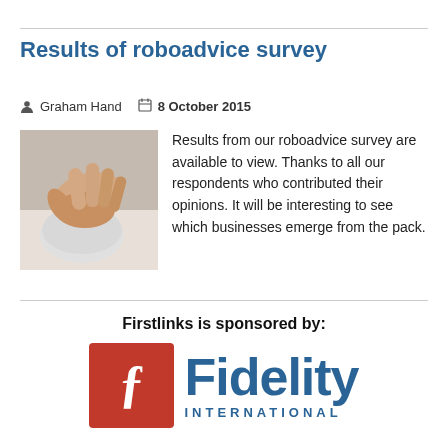Results of roboadvice survey
Graham Hand   8 October 2015
[Figure (photo): A hand resting on a white computer mouse on a light surface]
Results from our roboadvice survey are available to view. Thanks to all our respondents who contributed their opinions. It will be interesting to see which businesses emerge from the pack.
Firstlinks is sponsored by:
[Figure (logo): Fidelity International logo — red square with white F icon and blue Fidelity International text]